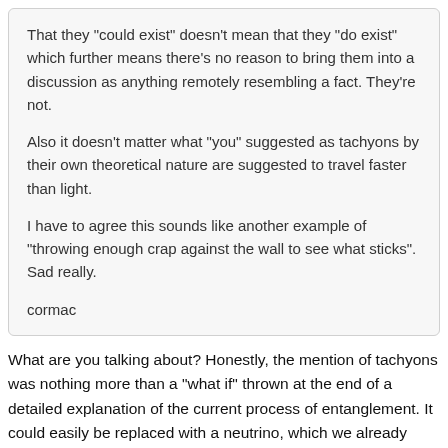That they "could exist" doesn't mean that they "do exist" which further means there's no reason to bring them into a discussion as anything remotely resembling a fact. They're not.

Also it doesn't matter what "you" suggested as tachyons by their own theoretical nature are suggested to travel faster than light.

I have to agree this sounds like another example of "throwing enough crap against the wall to see what sticks". Sad really.

cormac
What are you talking about? Honestly, the mention of tachyons was nothing more than a "what if" thrown at the end of a detailed explanation of the current process of entanglement. It could easily be replaced with a neutrino, which we already know can travel great distances and through matter.
Did you read the post that included the initial use of the term? Harping on a three word "hypothetical" sentence, which has nothing to do with the rest of the argument, pretty much means you are only looking for a loophole to get out of being wrong. Not to mention, you haven't really